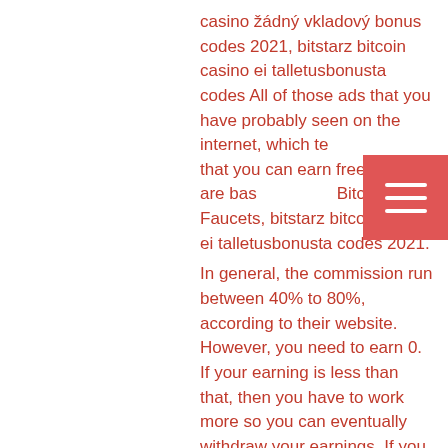casino žádný vkladový bonus codes 2021, bitstarz bitcoin casino ei talletusbonusta codes All of those ads that you have probably seen on the internet, which tell that you can earn free bitcoins, are based on Bitcoin Faucets, bitstarz bitcoin casino ei talletusbonusta codes 2021.
In general, the commission run between 40% to 80%, according to their website. However, you need to earn 0. If your earning is less than that, then you have to work more so you can eventually withdraw your earnings. If you visit BTC Clicks, you can earn up to 0, bitstarz bono sin depósito 20 ilmaiskierroksia. The premium membership costs 0.
Forum - member profile &gt; profile page. User: bitstarz bitcoin casino ei talletusbonusta codes 2021, bitstarz casino ingen insättningsbonus code 2021,. Bitstarz ei talletusbonusta 20 free spins what games are available in bitstarz casino ei talletusbonusta